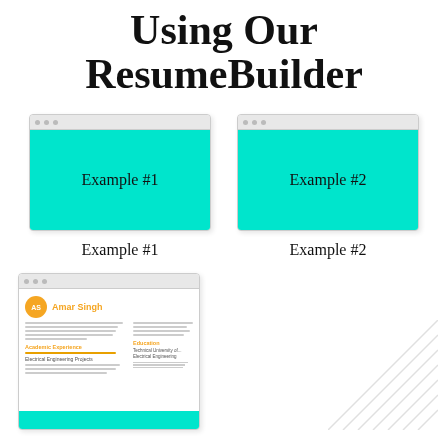Using Our ResumeBuilder
[Figure (screenshot): Browser mockup card labeled Example #1 with teal/cyan background]
Example #1
[Figure (screenshot): Browser mockup card labeled Example #2 with teal/cyan background]
Example #2
[Figure (screenshot): Resume preview for Amar Singh with orange avatar, orange section headings, and teal footer bar]